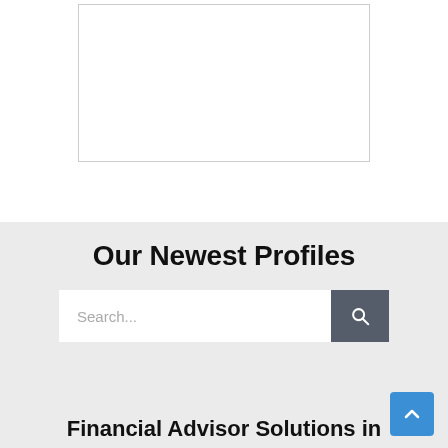[Figure (other): White empty image box with a thin border, partially visible on the upper portion of the page]
Our Newest Profiles
[Figure (other): Search bar with placeholder text 'Search...' and a dark gray search button with magnifying glass icon]
Financial Advisor Solutions in